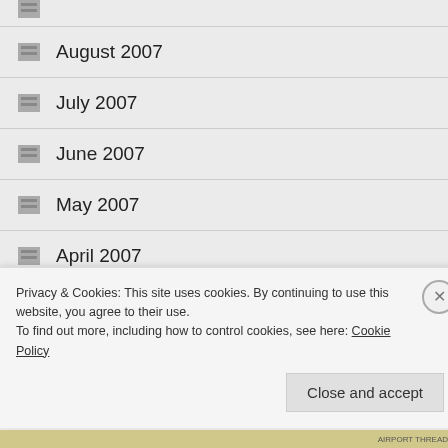August 2007
July 2007
June 2007
May 2007
April 2007
March 2007
February 2007
Privacy & Cookies: This site uses cookies. By continuing to use this website, you agree to their use.
To find out more, including how to control cookies, see here: Cookie Policy
Close and accept